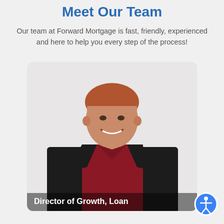Meet Our Team
Our team at Forward Mortgage is fast, friendly, experienced and here to help you every step of the process!
[Figure (photo): Professional headshot of a man in a black blazer and dark red shirt, smiling, on a light background. The card has rounded corners.]
Director of Growth, Loan